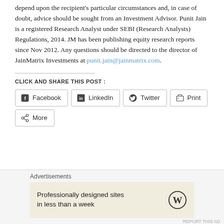depend upon the recipient's particular circumstances and, in case of doubt, advice should be sought from an Investment Advisor. Punit Jain is a registered Research Analyst under SEBI (Research Analysts) Regulations, 2014. JM has been publishing equity research reports since Nov 2012. Any questions should be directed to the director of JainMatrix Investments at punit.jain@jainmatrix.com.
CLICK AND SHARE THIS POST :
Facebook  LinkedIn  Twitter  Print  More
Advertisements
Professionally designed sites in less than a week